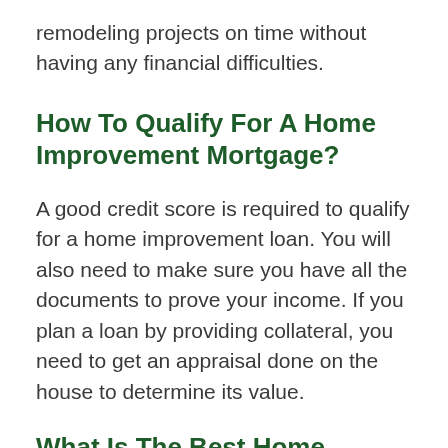remodeling projects on time without having any financial difficulties.
How To Qualify For A Home Improvement Mortgage?
A good credit score is required to qualify for a home improvement loan. You will also need to make sure you have all the documents to prove your income. If you plan a loan by providing collateral, you need to get an appraisal done on the house to determine its value.
What Is The Best Home